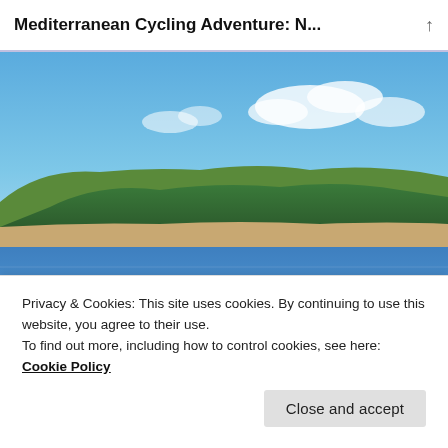Mediterranean Cycling Adventure: N...
[Figure (photo): Coastal lagoon landscape with flamingos wading in shallow water, green forested hills in the background under a blue sky with scattered clouds.]
Privacy & Cookies: This site uses cookies. By continuing to use this website, you agree to their use.
To find out more, including how to control cookies, see here: Cookie Policy
Close and accept